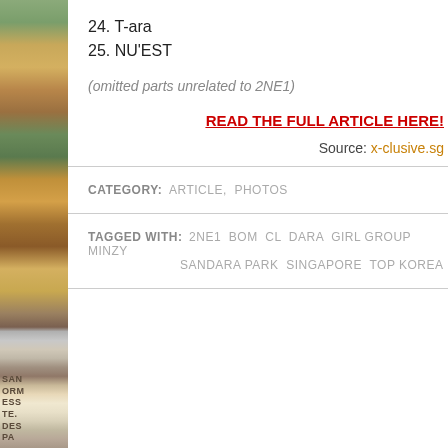24. T-ara
25. NU'EST
(omitted parts unrelated to 2NE1)
READ THE FULL ARTICLE HERE!
Source: x-clusive.sg
CATEGORY:  ARTICLE,  PHOTOS
TAGGED WITH:  2NE1  BOM  CL  DARA  GIRL GROUP  MINZY  SANDARA PARK  SINGAPORE  TOP KOREA